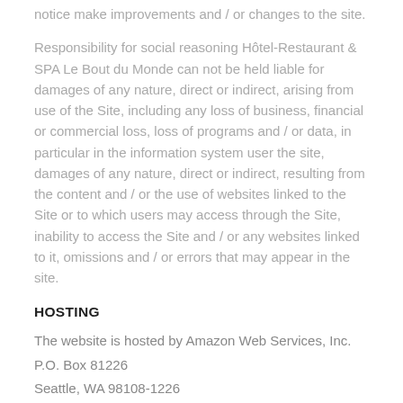notice make improvements and / or changes to the site.
Responsibility for social reasoning Hôtel-Restaurant & SPA Le Bout du Monde can not be held liable for damages of any nature, direct or indirect, arising from use of the Site, including any loss of business, financial or commercial loss, loss of programs and / or data, in particular in the information system user the site, damages of any nature, direct or indirect, resulting from the content and / or the use of websites linked to the Site or to which users may access through the Site, inability to access the Site and / or any websites linked to it, omissions and / or errors that may appear in the site.
HOSTING
The website is hosted by Amazon Web Services, Inc.
P.O. Box 81226
Seattle, WA 98108-1226
(https://aws.amazon.com)
FORMS COLLECTION OF PERSONAL DATA